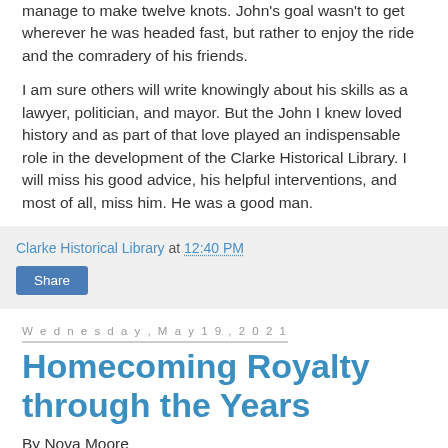manage to make twelve knots. John's goal wasn't to get wherever he was headed fast, but rather to enjoy the ride and the comradery of his friends.
I am sure others will write knowingly about his skills as a lawyer, politician, and mayor. But the John I knew loved history and as part of that love played an indispensable role in the development of the Clarke Historical Library. I will miss his good advice, his helpful interventions, and most of all, miss him. He was a good man.
Clarke Historical Library at 12:40 PM
Share
Wednesday, May 19, 2021
Homecoming Royalty through the Years
By Nova Moore